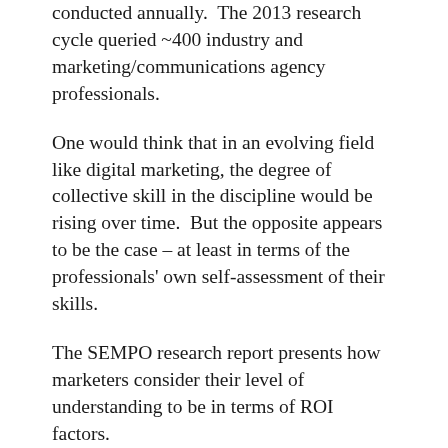conducted annually.  The 2013 research cycle queried ~400 industry and marketing/communications agency professionals.
One would think that in an evolving field like digital marketing, the degree of collective skill in the discipline would be rising over time.  But the opposite appears to be the case – at least in terms of the professionals' own self-assessment of their skills.
The SEMPO research report presents how marketers consider their level of understanding to be in terms of ROI factors.
What the research reveals is a pretty stark